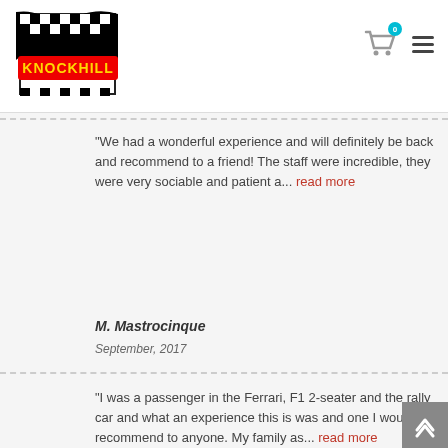[Figure (logo): Knockhill Racing Circuit logo with checkered flag and red/yellow branding]
"We had a wonderful experience and will definitely be back and recommend to a friend! The staff were incredible, they were very sociable and patient a... read more
M. Mastrocinque
September, 2017
"I was a passenger in the Ferrari, F1 2-seater and the rally car and what an experience this is was and one I would recommend to anyone. My family as... read more